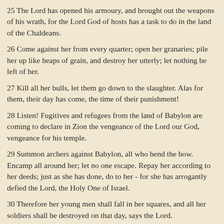25 The Lord has opened his armoury, and brought out the weapons of his wrath, for the Lord God of hosts has a task to do in the land of the Chaldeans.
26 Come against her from every quarter; open her granaries; pile her up like heaps of grain, and destroy her utterly; let nothing be left of her.
27 Kill all her bulls, let them go down to the slaughter. Alas for them, their day has come, the time of their punishment!
28 Listen! Fugitives and refugees from the land of Babylon are coming to declare in Zion the vengeance of the Lord our God, vengeance for his temple.
29 Summon archers against Babylon, all who bend the bow. Encamp all around her; let no one escape. Repay her according to her deeds; just as she has done, do to her - for she has arrogantly defied the Lord, the Holy One of Israel.
30 Therefore her young men shall fall in her squares, and all her soldiers shall be destroyed on that day, says the Lord.
31 I am against you, O arrogant one, says the Lord God of hosts; for your day has come, the time when I will punish you.